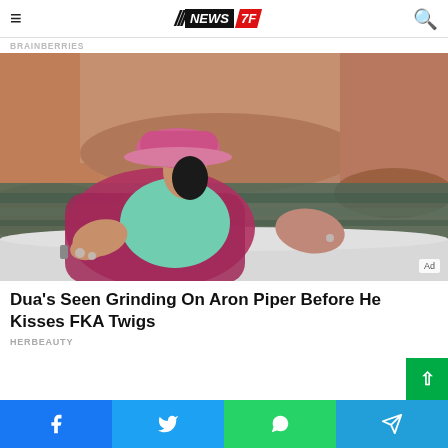≡ NEWS 7F 🔍
BRAINBERRIES
[Figure (photo): Woman in pink cap and teal swimsuit with open pink plaid jacket, reclining on a boat near sandstone rock formations and water. Ad badge visible in bottom right corner.]
Dua's Seen Grinding On Aron Piper Before He Kisses FKA Twigs
HERBEAUTY
Facebook share | Twitter share | WhatsApp share | Telegram share